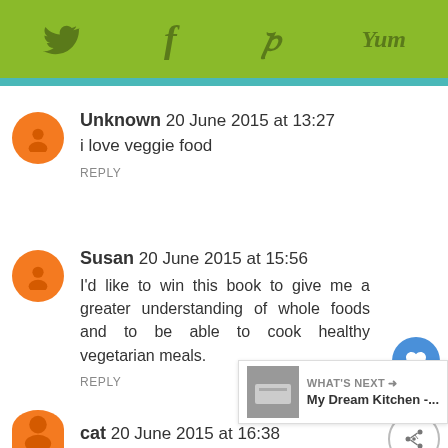[Figure (screenshot): Green toolbar with social media icons: Twitter bird, Facebook f, Pinterest p, Yummly 'Yum']
Unknown 20 June 2015 at 13:27
i love veggie food
REPLY
Susan 20 June 2015 at 15:56
I'd like to win this book to give me a greater understanding of whole foods and to be able to cook healthy vegetarian meals.
REPLY
cat 20 June 2015 at 16:38